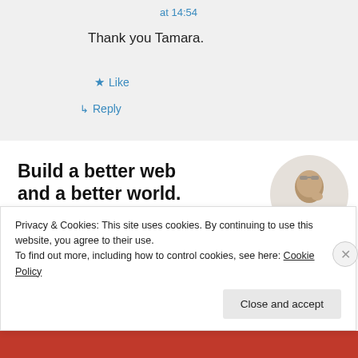at 14:54
Thank you Tamara.
★ Like
↳ Reply
Build a better web and a better world.
[Figure (other): Apply button for a job/opportunity promotion]
[Figure (photo): Circular cropped photo of a person thinking, with hand on chin, wearing casual clothes and glasses on head]
Privacy & Cookies: This site uses cookies. By continuing to use this website, you agree to their use.
To find out more, including how to control cookies, see here: Cookie Policy
Close and accept